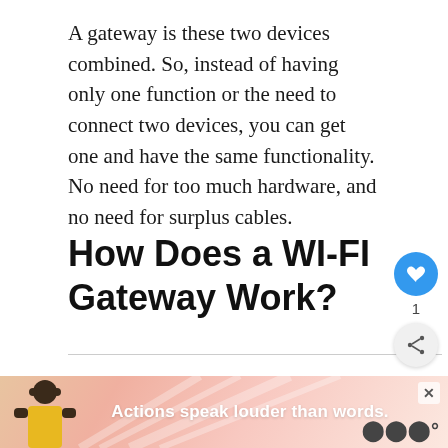A gateway is these two devices combined. So, instead of having only one function or the need to connect two devices, you can get one and have the same functionality. No need for too much hardware, and no need for surplus cables.
How Does a WI-FI Gateway Work?
The WI-FI gateway works the same as a modem and router combination would work. A coaxial cable goes into the gateway, and the gateway takes the
[Figure (other): Advertisement banner with illustration of a person and text 'Actions speak louder than words.' with a close button and share/logo icons]
[Figure (other): Floating action buttons: heart/like button (blue circle with heart icon, count 1), and share button (grey circle with share icon)]